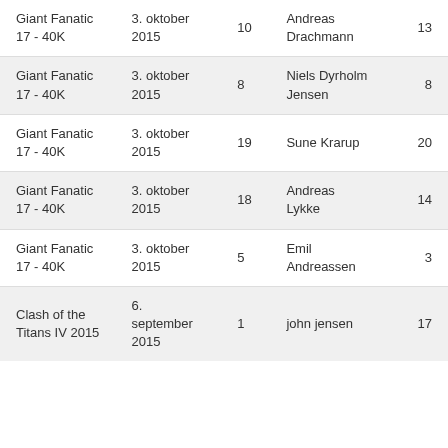| Giant Fanatic 17 - 40K | 3. oktober 2015 | 10 | Andreas Drachmann | 13 |
| Giant Fanatic 17 - 40K | 3. oktober 2015 | 8 | Niels Dyrholm Jensen | 8 |
| Giant Fanatic 17 - 40K | 3. oktober 2015 | 19 | Sune Krarup | 20 |
| Giant Fanatic 17 - 40K | 3. oktober 2015 | 18 | Andreas Lykke | 14 |
| Giant Fanatic 17 - 40K | 3. oktober 2015 | 5 | Emil Andreassen | 3 |
| Clash of the Titans IV 2015 | 6. september 2015 | 1 | john jensen | 17 |